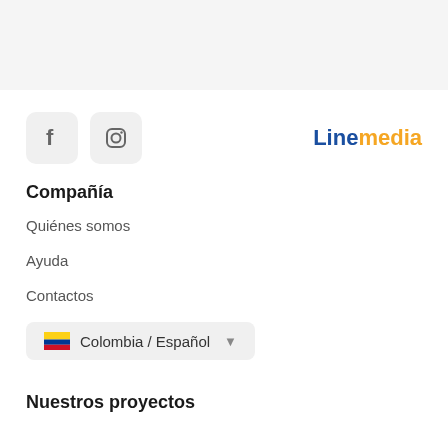[Figure (logo): Linemedia logo with 'Line' in blue and 'media' in orange/yellow]
[Figure (other): Facebook and Instagram social media icon buttons with rounded square grey backgrounds]
Compañía
Quiénes somos
Ayuda
Contactos
Colombia / Español
Nuestros proyectos